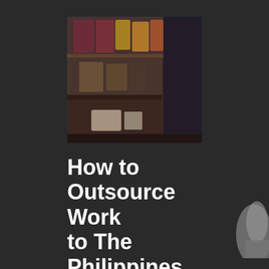[Figure (photo): Blurry thumbnail image showing what appears to be shelves or a workspace in a dimly lit environment with warm and cool tones]
How to Outsource Work to The Philippines from $1 Per Hour
[Figure (photo): Partial view of a person's hand/arm on the right edge of the image]